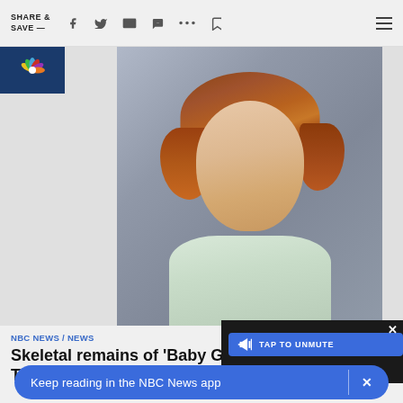SHARE & SAVE —
[Figure (photo): School portrait photo of a young girl with reddish-brown wavy hair, wearing a light-colored collared shirt, smiling slightly, set against a grey-blue background. NBC News peacock logo appears in top-left corner.]
NBC NEWS / NEWS
Skeletal remains of 'Baby Girl' Tennessee 37 years ago finally
[Figure (screenshot): Video player overlay with blue 'TAP TO UNMUTE' button on dark background with X close button]
Keep reading in the NBC News app